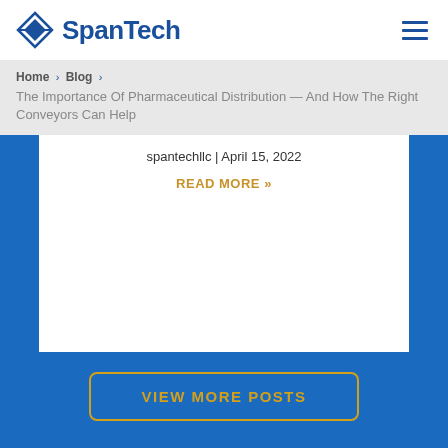SpanTech
Home > Blog > The Importance Of Pharmaceutical Distribution — And How The Right Conveyors Can Help
spantechllc | April 15, 2022
READ MORE »
VIEW MORE POSTS